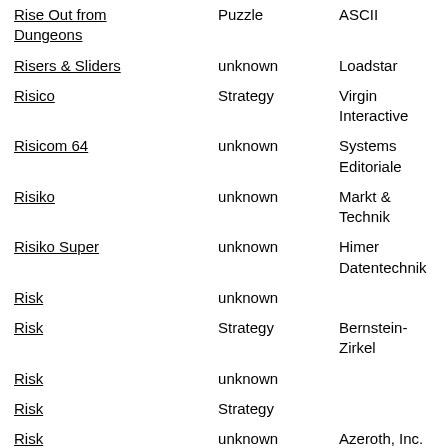| Name | Genre | Publisher |
| --- | --- | --- |
| Rise Out from Dungeons | Puzzle | ASCII |
| Risers & Sliders | unknown | Loadstar |
| Risico | Strategy | Virgin Interactive |
| Risicom 64 | unknown | Systems Editoriale |
| Risiko | unknown | Markt & Technik |
| Risiko Super | unknown | Himer Datentechnik |
| Risk | unknown |  |
| Risk | Strategy | Bernstein-Zirkel |
| Risk | unknown |  |
| Risk | Strategy |  |
| Risk | unknown | Azeroth, Inc. |
| Risk | unknown | Joker Software |
| Risk .nib | unknown |  |
| Risk v1.4 .nib | unknown |  |